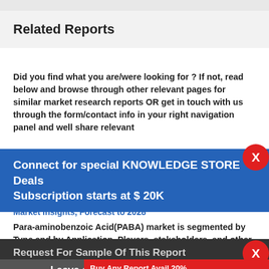Related Reports
Did you find what you are/were looking for ? If not, read below and browse through other relevant pages for similar market research reports OR get in touch with us through the form/contact info in your right navigation panel and well share relevant
Connect for special KNOWLEDGE STORE Deals Subscription starts at $ 20K
Market Insights, Forecast to 2028
Para-aminobenzoic Acid(PABA) market is segmented by Type and by Application. Players, stakeholders, and other participants in the global
Request For Sample Of This Report
Buy Any Report Avail 20% Code:
Leave a message
report c